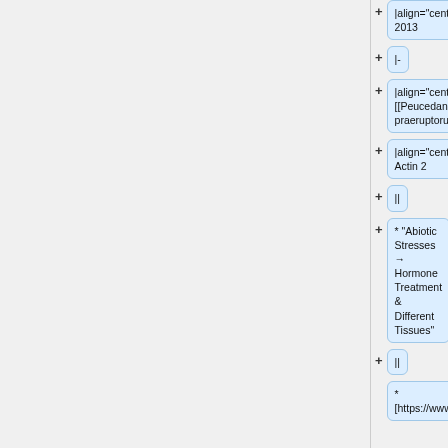|align="center"| 2013
|-
|align="center"| [[Peucedanum praeruptorum]]
|align="center"| Actin 2
||
* "Abiotic Stresses → Hormone Treatment & Different Tissues"
||
* [https://www.nc...